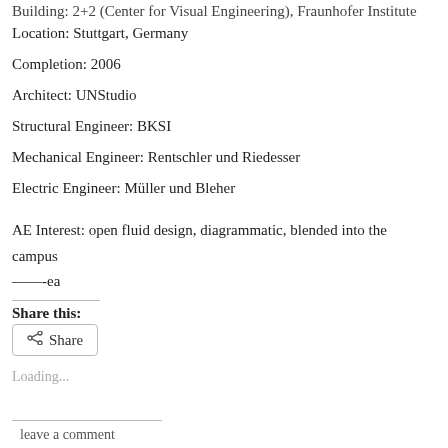Location: Stuttgart, Germany
Completion: 2006
Architect: UNStudio
Structural Engineer: BKSI
Mechanical Engineer: Rentschler und Riedesser
Electric Engineer: Müller und Bleher
AE Interest: open fluid design, diagrammatic, blended into the campus
——-ea
Share this:
Share
Loading...
leave a comment